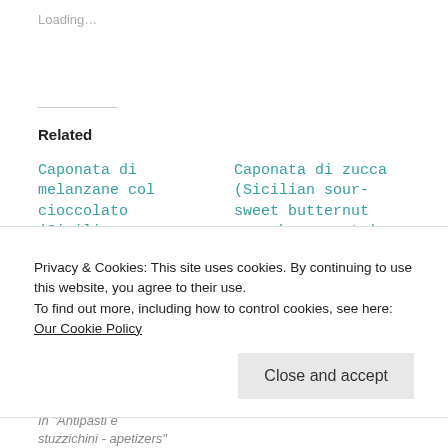Loading...
Related
Caponata di melanzane col cioccolato (Sicilian aubergine, celery, olive and bitter chocolate come stew come relish)
07/07/2017
Caponata di zucca (Sicilian sour-sweet butternut squash caponata)
24/10/2018
In "Antipasti e stuzzichini - apetizers"
Privacy & Cookies: This site uses cookies. By continuing to use this website, you agree to their use.
To find out more, including how to control cookies, see here: Our Cookie Policy
Close and accept
In "Antipasti e stuzzichini - apetizers"